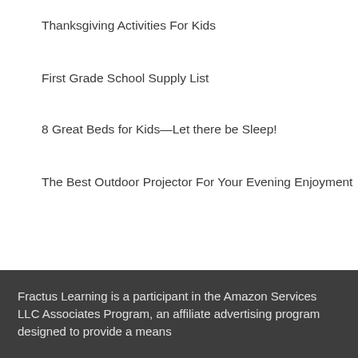Thanksgiving Activities For Kids
First Grade School Supply List
8 Great Beds for Kids—Let there be Sleep!
The Best Outdoor Projector For Your Evening Enjoyment
Fractus Learning is a participant in the Amazon Services LLC Associates Program, an affiliate advertising program designed to provide a means